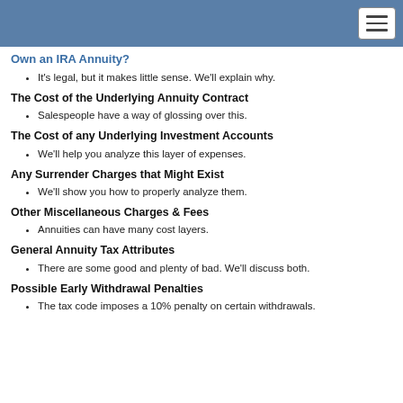Own an IRA Annuity?
It's legal, but it makes little sense. We'll explain why.
The Cost of the Underlying Annuity Contract
Salespeople have a way of glossing over this.
The Cost of any Underlying Investment Accounts
We'll help you analyze this layer of expenses.
Any Surrender Charges that Might Exist
We'll show you how to properly analyze them.
Other Miscellaneous Charges & Fees
Annuities can have many cost layers.
General Annuity Tax Attributes
There are some good and plenty of bad. We'll discuss both.
Possible Early Withdrawal Penalties
The tax code imposes a 10% penalty on certain withdrawals.